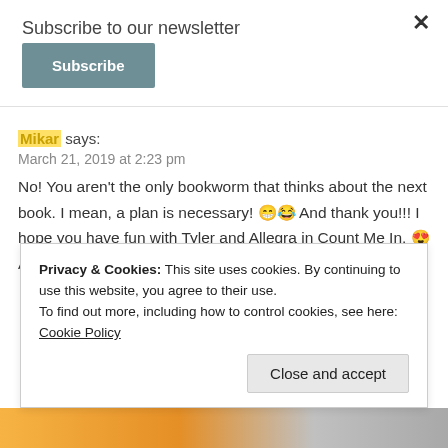Subscribe to our newsletter
Subscribe (button)
Mikar says:
March 21, 2019 at 2:23 pm
No! You aren't the only bookworm that thinks about the next book. I mean, a plan is necessary! 😁😂 And thank you!!! I hope you have fun with Tyler and Allegra in Count Me In. 😍 As for DC, it's a great city, SO much to do!
Privacy & Cookies: This site uses cookies. By continuing to use this website, you agree to their use. To find out more, including how to control cookies, see here: Cookie Policy
Close and accept